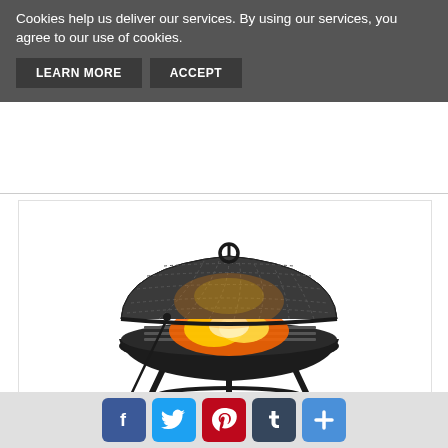Cookies help us deliver our services. By using our services, you agree to our use of cookies.
LEARN MORE | ACCEPT
[Figure (photo): A black metal fire pit with mesh dome lid and ring handle on top, showing flames and glowing embers visible through the mesh, mounted on decorative metal legs with a circular base ring. Includes a long-handled poker tool leaning against it.]
[Figure (infographic): Social sharing bar with icons for Facebook, Twitter, Pinterest, Tumblr, and a plus/share button]